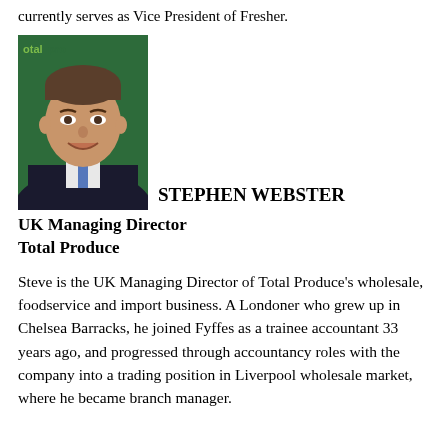currently serves as Vice President of Fresher.
[Figure (photo): Headshot photo of Stephen Webster, a man in a dark suit and blue tie, smiling, with a green background (Total Produce branding visible).]
STEPHEN WEBSTER
UK Managing Director
Total Produce
Steve is the UK Managing Director of Total Produce's wholesale, foodservice and import business. A Londoner who grew up in Chelsea Barracks, he joined Fyffes as a trainee accountant 33 years ago, and progressed through accountancy roles with the company into a trading position in Liverpool wholesale market, where he became branch manager.